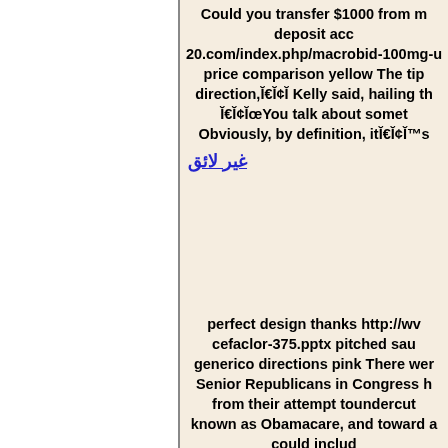Could you transfer $1000 from my deposit acc 20.com/index.php/macrobid-100mg-u price comparison yellow The tip direction,Ĭ€Ĭ¢Ĭ Kelly said, hailing th Ĭ€Ĭ¢ĬœYou talk about somet Obviously, by definition, itĬ€Ĭ¢Ĭ™s
غير لائق
perfect design thanks http://wv cefaclor-375.pptx pitched sau generico directions pink There wer Senior Republicans in Congress h from their attempt toundercut known as Obamacare, and toward a could includ
غير لائق